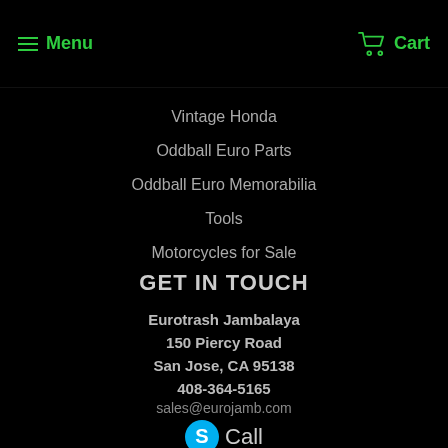Menu   Cart
Vintage Honda
Oddball Euro Parts
Oddball Euro Memorabilia
Tools
Motorcycles for Sale
GET IN TOUCH
Eurotrash Jambalaya
150 Piercy Road
San Jose, CA 95138
408-364-5165
sales@eurojamb.com
[Figure (logo): Skype logo icon (blue circle with white S) followed by text 'Call']